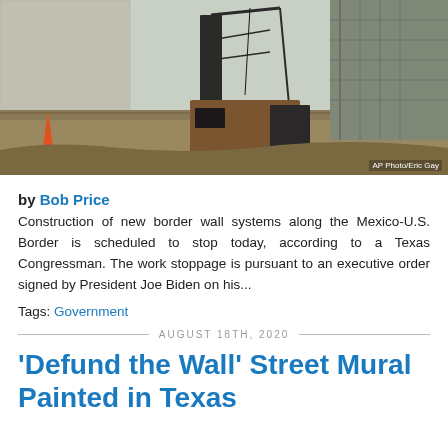[Figure (photo): Construction crane near a concrete border wall structure, with dirt embankment in foreground. AP Photo/Eric Gay credit shown.]
by Bob Price
Construction of new border wall systems along the Mexico-U.S. Border is scheduled to stop today, according to a Texas Congressman. The work stoppage is pursuant to an executive order signed by President Joe Biden on his...
Tags: Government
AUGUST 18TH, 2020
'Defund the Wall' Street Mural Painted in Texas